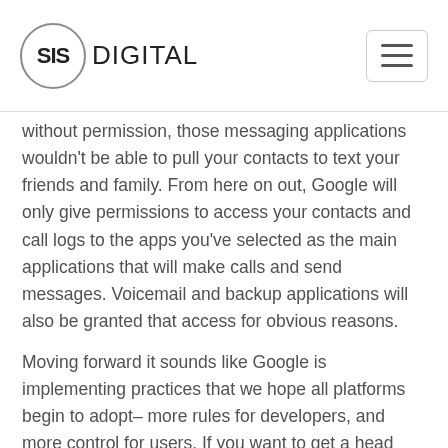SIS DIGITAL
without permission, those messaging applications wouldn't be able to pull your contacts to text your friends and family. From here on out, Google will only give permissions to access your contacts and call logs to the apps you've selected as the main applications that will make calls and send messages. Voicemail and backup applications will also be granted that access for obvious reasons.
Moving forward it sounds like Google is implementing practices that we hope all platforms begin to adopt– more rules for developers, and more control for users. If you want to get a head start on cleaning up your own security, you can partake in a simple and quick security checkup at any time using Google's Security Checkup tool. This is a great way to see how many apps you